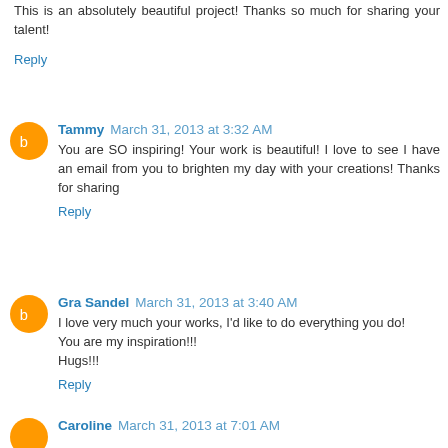This is an absolutely beautiful project! Thanks so much for sharing your talent!
Reply
Tammy  March 31, 2013 at 3:32 AM
You are SO inspiring! Your work is beautiful! I love to see I have an email from you to brighten my day with your creations! Thanks for sharing
Reply
Gra Sandel  March 31, 2013 at 3:40 AM
I love very much your works, I'd like to do everything you do!
You are my inspiration!!!
Hugs!!!
Reply
Caroline  March 31, 2013 at 7:01 AM